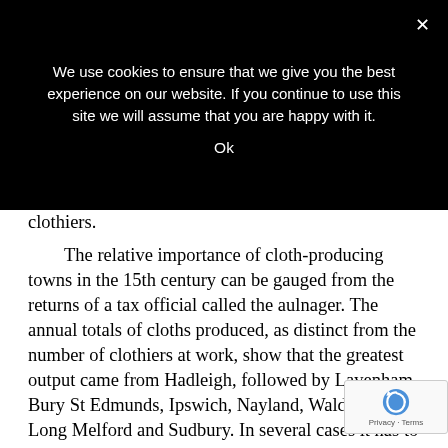We use cookies to ensure that we give you the best experience on our website. If you continue to use this site we will assume that you are happy with it.
Ok
clothiers.
The relative importance of cloth-producing towns in the 15th century can be gauged from the returns of a tax official called the aulnager. The annual totals of cloths produced, as distinct from the number of clothiers at work, show that the greatest output came from Hadleigh, followed by Lavenham, Bury St Edmunds, Ipswich, Nayland, Waldingfield, Long Melford and Sudbury. In several cases it has to be assumed that cloth-producing villages in their vicinity were also included.
A muster roll of 1522, surviving for the Hundred of Babergh only, indicates the number of clothworkers in each parish. Boxford had the largest total (60), mainly weavers, where Lavenham (34), Glemsford (20) and Nayland (14) had the greatest number of clothiers. Long Melford, on the other hand